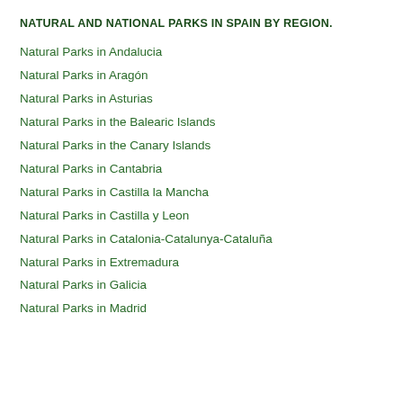NATURAL AND NATIONAL PARKS IN SPAIN BY REGION.
Natural Parks in Andalucia
Natural Parks in Aragón
Natural Parks in Asturias
Natural Parks in the Balearic Islands
Natural Parks in the Canary Islands
Natural Parks in Cantabria
Natural Parks in Castilla la Mancha
Natural Parks in Castilla y Leon
Natural Parks in Catalonia-Catalunya-Cataluña
Natural Parks in Extremadura
Natural Parks in Galicia
Natural Parks in Madrid